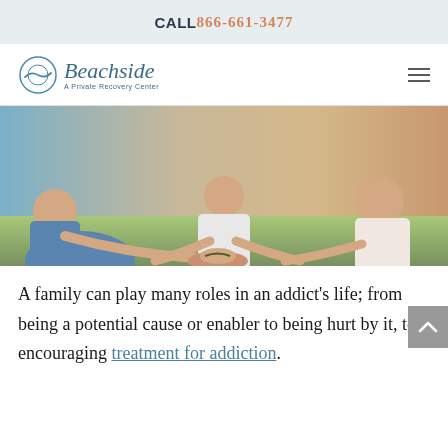CALL 866-661-3477
[Figure (logo): Beachside - A Private Recovery Center logo with circular wave icon]
[Figure (photo): Group of people sitting in a circle joining hands together outdoors on grass, a support group or therapy session]
A family can play many roles in an addict's life; from being a potential cause or enabler to being hurt by it, to encouraging treatment for addiction.